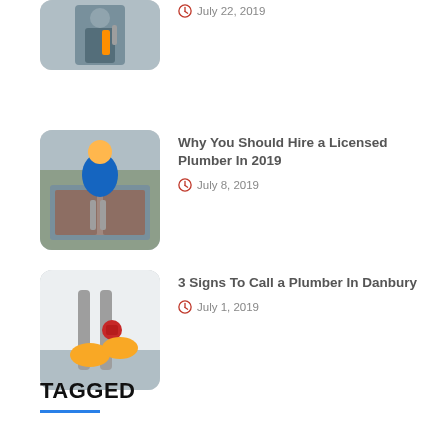[Figure (photo): Plumber with tools, partially visible thumbnail at top]
July 22, 2019
[Figure (photo): Plumber working under a sink]
Why You Should Hire a Licensed Plumber In 2019
July 8, 2019
[Figure (photo): Hands working on plumbing pipes with red valve]
3 Signs To Call a Plumber In Danbury
July 1, 2019
TAGGED